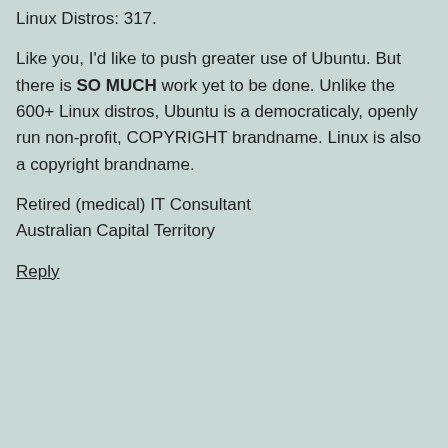Linux Distros: 317.
Like you, I'd like to push greater use of Ubuntu. But there is SO MUCH work yet to be done. Unlike the 600+ Linux distros, Ubuntu is a democraticaly, openly run non-profit, COPYRIGHT brandname. Linux is also a copyright brandname.
Retired (medical) IT Consultant
Australian Capital Territory
Reply